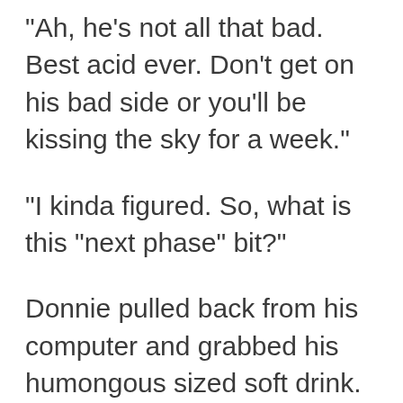“Ah, he’s not all that bad.  Best acid ever.  Don’t get on his bad side or you’ll be kissing the sky for a week.”
“I kinda figured.  So, what is this “next phase” bit?”
Donnie pulled back from his computer and grabbed his humongous sized soft drink.  “The next phase is consolidating all the